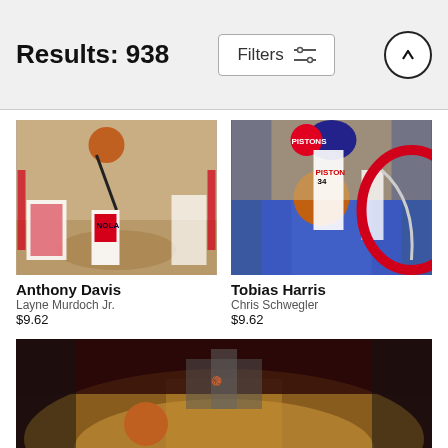Results: 938
[Figure (photo): Anthony Davis dunking in a New Orleans Pelicans game, overhead view]
Anthony Davis
Layne Murdoch Jr.
$9.62
[Figure (photo): Tobias Harris #34 of the Detroit Pistons dunking, overhead view of the court]
Tobias Harris
Chris Schwegler
$9.62
[Figure (photo): Wide-angle view of Houston Rockets arena with basketball on the court floor]